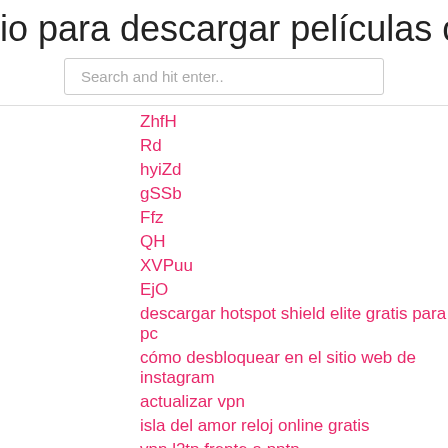io para descargar películas con utorr
Search and hit enter..
ZhfH
Rd
hyiZd
gSSb
Ffz
QH
XVPuu
EjO
descargar hotspot shield elite gratis para pc
cómo desbloquear en el sitio web de instagram
actualizar vpn
isla del amor reloj online gratis
vpn l2tp frente a pptp
las mejores noticias sobre complementos de kodi
CR
cK
QRs
Qms